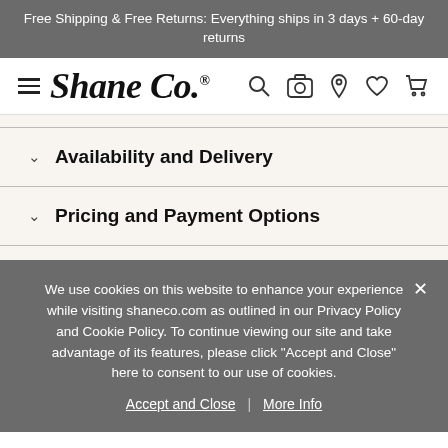Free Shipping & Free Returns: Everything ships in 3 days + 60-day returns
[Figure (logo): Shane Co. logo with hamburger menu and navigation icons (search, camera, location, heart, cart)]
Availability and Delivery
Pricing and Payment Options
We use cookies on this website to enhance your experience while visiting shaneco.com as outlined in our Privacy Policy and Cookie Policy. To continue viewing our site and take advantage of its features, please click "Accept and Close" here to consent to our use of cookies.
Accept and Close  |  More Info